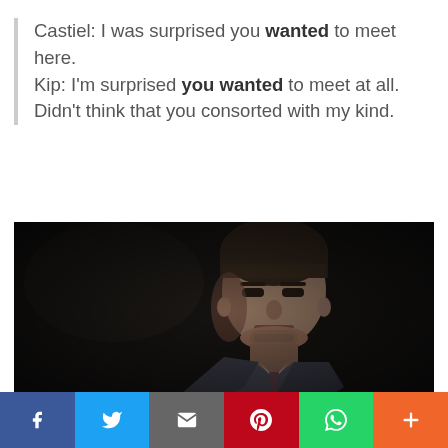Castiel: I was surprised you wanted to meet here. Kip: I'm surprised you wanted to meet at all. Didn't think that you consorted with my kind.
[Figure (photo): Dark cinematic still of a man in a suit and tie looking forward with a serious expression, dark background suggesting a dim indoor setting.]
[Figure (infographic): Social share bar with six buttons: Facebook (blue), Twitter (light blue), Email (grey), Pinterest (red), WhatsApp (green), More (orange)]